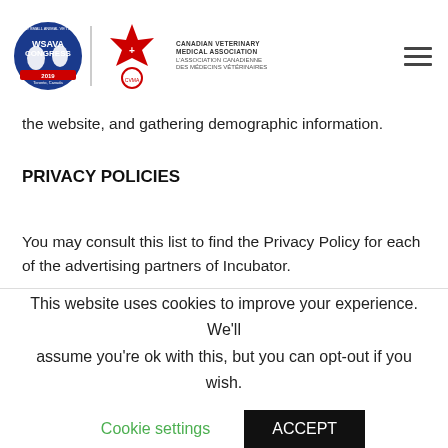WSAVA Congress 2019 / Canadian Veterinary Medical Association header with hamburger menu
the website, and gathering demographic information.
PRIVACY POLICIES
You may consult this list to find the Privacy Policy for each of the advertising partners of Incubator.
Third-party ad servers or ad networks uses technologies like cookies, JavaScript, or Web Beacons that are used in their respective advertisements and links that appear on Incubator, which are sent directly to users' browser. They automatically receive your IP address when this occurs.
This website uses cookies to improve your experience. We'll assume you're ok with this, but you can opt-out if you wish.
Cookie settings   ACCEPT